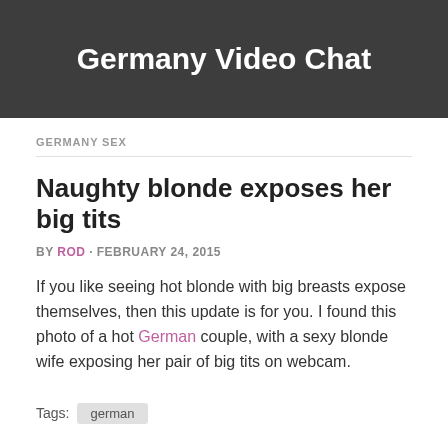Germany Video Chat
GERMANY SEX
Naughty blonde exposes her big tits
BY ROD · FEBRUARY 24, 2015
If you like seeing hot blonde with big breasts expose themselves, then this update is for you. I found this photo of a hot German couple, with a sexy blonde wife exposing her pair of big tits on webcam.
Tags: german